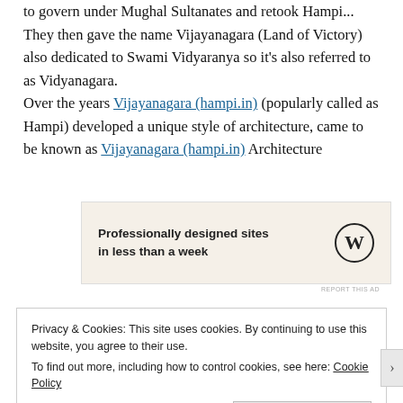to govern under Mughal Sultanates and retook Hampi... They then gave the name Vijayanagara (Land of Victory) also dedicated to Swami Vidyaranya so it's also referred to as Vidyanagara.
Over the years Vijayanagara (hampi.in) (popularly called as Hampi) developed a unique style of architecture, came to be known as Vijayanagara (hampi.in) Architecture
[Figure (other): WordPress advertisement banner: 'Professionally designed sites in less than a week' with WordPress logo]
REPORT THIS AD
Privacy & Cookies: This site uses cookies. By continuing to use this website, you agree to their use.
To find out more, including how to control cookies, see here: Cookie Policy
Close and accept